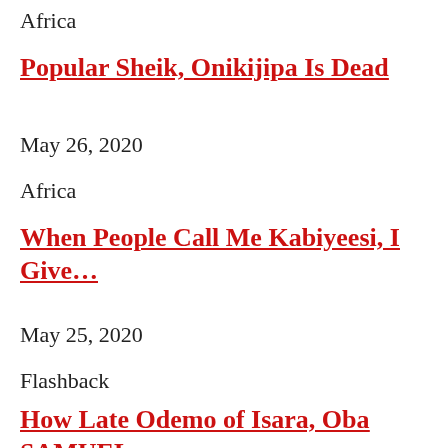Africa
Popular Sheik, Onikijipa Is Dead
May 26, 2020
Africa
When People Call Me Kabiyeesi, I Give…
May 25, 2020
Flashback
How Late Odemo of Isara, Oba SAMUEL…